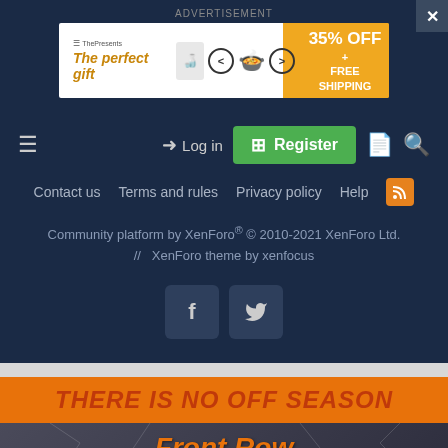ADVERTISEMENT
[Figure (other): Advertisement banner for 'The perfect gift' showing cooking pot, navigation arrows, and 35% OFF + FREE SHIPPING offer]
Log in  Register
Contact us   Terms and rules   Privacy policy   Help
Community platform by XenForo® © 2010-2021 XenForo Ltd. // XenForo theme by xenfocus
[Figure (other): Facebook and Twitter social media icon buttons]
THERE IS NO OFF SEASON
Front Row